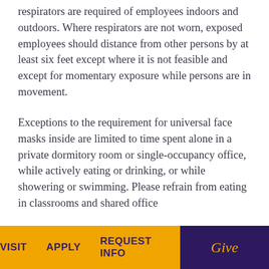respirators are required of employees indoors and outdoors. Where respirators are not worn, exposed employees should distance from other persons by at least six feet except where it is not feasible and except for momentary exposure while persons are in movement.
Exceptions to the requirement for universal face masks inside are limited to time spent alone in a private dormitory room or single-occupancy office, while actively eating or drinking, or while showering or swimming. Please refrain from eating in classrooms and shared office
VISIT   APPLY   REQUEST INFO   Give